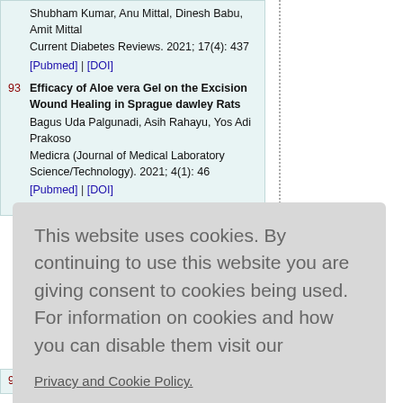Shubham Kumar, Anu Mittal, Dinesh Babu, Amit Mittal. Current Diabetes Reviews. 2021; 17(4): 437 [Pubmed] | [DOI]
93. Efficacy of Aloe vera Gel on the Excision Wound Healing in Sprague dawley Rats. Bagus Uda Palgunadi, Asih Rahayu, Yos Adi Prakoso. Medicra (Journal of Medical Laboratory Science/Technology). 2021; 4(1): 46 [Pubmed] | [DOI]
This website uses cookies. By continuing to use this website you are giving consent to cookies being used. For information on cookies and how you can disable them visit our Privacy and Cookie Policy.
AGREE & PROCEED
95. with Box-Behnken design: Using